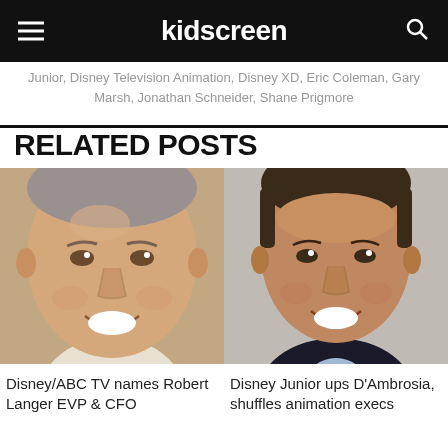kidscreen
Junior, Disney Television Animation, Disney XD, Eric Coleman, Gary Marsh, Jonathan Schneider, Shane Prigmore
RELATED POSTS
[Figure (photo): Headshot photo of Robert Langer, a middle-aged man smiling, close-up face shot]
[Figure (photo): Headshot photo of man associated with Disney Junior D'Ambrosia story, smiling, wearing dark suit]
Disney/ABC TV names Robert Langer EVP & CFO
Disney Junior ups D'Ambrosia, shuffles animation execs